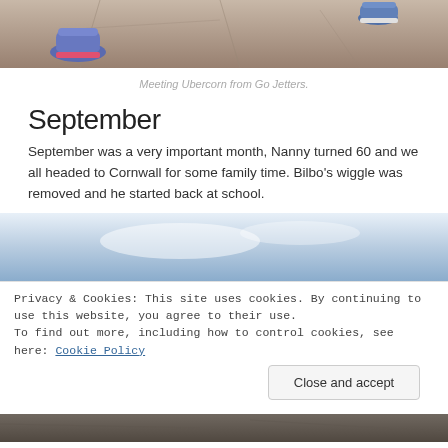[Figure (photo): Close-up of children's feet/shoes on a stone pavement surface, partially cropped at the top of the page.]
Meeting Ubercorn from Go Jetters.
September
September was a very important month, Nanny turned 60 and we all headed to Cornwall for some family time. Bilbo's wiggle was removed and he started back at school.
[Figure (photo): Outdoor photo showing a blue sky with light clouds, partially visible, cropped.]
Privacy & Cookies: This site uses cookies. By continuing to use this website, you agree to their use.
To find out more, including how to control cookies, see here: Cookie Policy
[Figure (photo): Bottom strip of an outdoor photo, dark ground surface visible.]